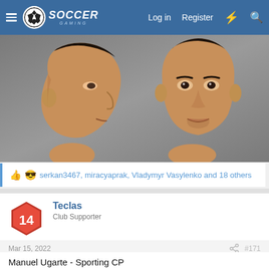Soccer Gaming — Log in | Register
[Figure (photo): 3D rendered faces of soccer player Manuel Ugarte - Sporting CP, side profile on the left and front-facing on the right, on a grey background]
serkan3467, miracyaprak, Vladymyr Vasylenko and 18 others
Teclas
Club Supporter
Mar 15, 2022
#171
Manuel Ugarte - Sporting CP
By Teclas
Download